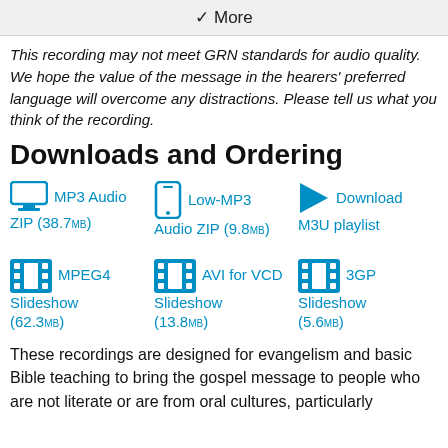✓ More
This recording may not meet GRN standards for audio quality. We hope the value of the message in the hearers' preferred language will overcome any distractions. Please tell us what you think of the recording.
Downloads and Ordering
MP3 Audio ZIP (38.7MB)
Low-MP3 Audio ZIP (9.8MB)
Download M3U playlist
MPEG4 Slideshow (62.3MB)
AVI for VCD Slideshow (13.8MB)
3GP Slideshow (5.6MB)
These recordings are designed for evangelism and basic Bible teaching to bring the gospel message to people who are not literate or are from oral cultures, particularly